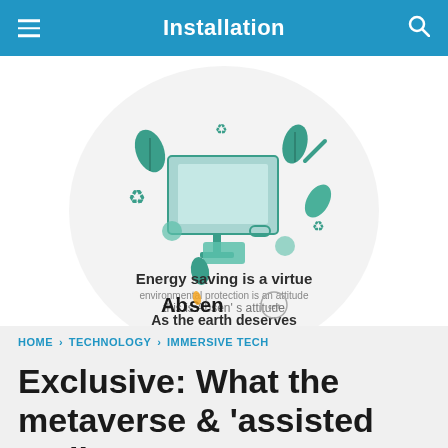Installation
[Figure (illustration): Absen advertisement showing eco-friendly green tech illustration: a monitor on a stand, surrounded by recycling symbols, leaves, and tools arranged in a circular pattern. Text reads: Energy saving is a virtue / environmental protection is an attitude / this is Absen's attitude / As the earth deserves. Absen logo and certification mark shown at bottom.]
HOME › TECHNOLOGY › IMMERSIVE TECH
Exclusive: What the metaverse & 'assisted reality'